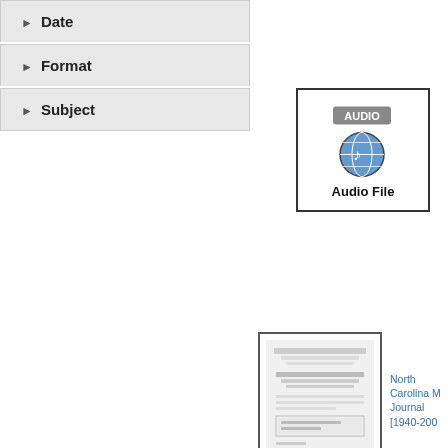Date
Format
Subject
[Figure (other): Audio file icon showing a globe with audio speaker badge, labeled 'Audio File']
[Figure (other): Thumbnail of North Carolina Medical Journal document cover]
North Carolina M... Journal [1940-200...
.
The Effect Against Trichinella spirali... Hour Treatment S...